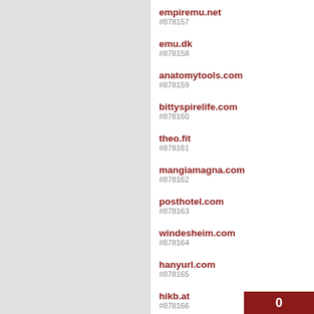#878157 empiremu.net
#878158 emu.dk
#878159 anatomytools.com
#878160 bittyspirelife.com
#878161 theo.fit
#878162 mangiamagna.com
#878163 posthotel.com
#878164 windesheim.com
#878165 hanyurl.com
#878166 hikb.at
#878167 porno18.site
#878168 nikulshinaelena.r...